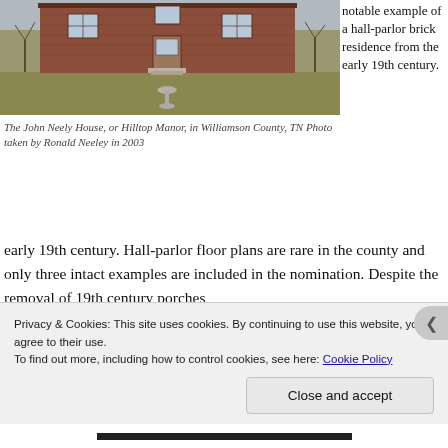[Figure (photo): Photo of the John Neely House (Hilltop Manor), a brick hall-parlor residence in Williamson County, TN. Shows front facade with brick exterior, central door with steps, windows on either side, and a lawn with a birdbath in the foreground.]
The John Neely House, or Hilltop Manor, in Williamson County, TN Photo taken by Ronald Neeley in 2003
notable example of a hall-parlor brick residence from the early 19th century. Hall-parlor floor plans are rare in the county and only three intact examples are included in the nomination. Despite the removal of 19th century porches
Privacy & Cookies: This site uses cookies. By continuing to use this website, you agree to their use.
To find out more, including how to control cookies, see here: Cookie Policy